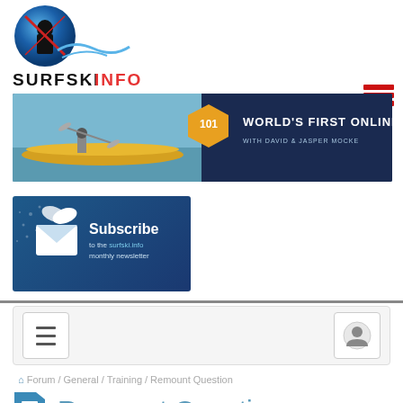[Figure (logo): SURFSKI.INFO logo with globe icon and wave graphic]
[Figure (illustration): Banner advertisement: World's First Online Surfski Courses with David & Jasper Mocke, featuring kayak image and 101 badge]
[Figure (illustration): Subscribe to the surfski.info monthly newsletter box with envelope/bird icon]
[Figure (screenshot): Navigation bar with hamburger menu icon on left and user account icon on right]
Forum / General / Training / Remount Question
Remount Question